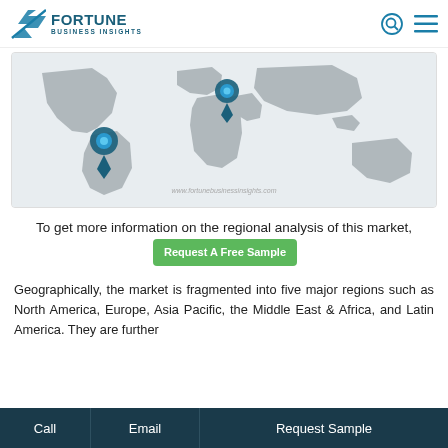FORTUNE BUSINESS INSIGHTS
[Figure (map): World map showing geographic regions with location pins on South America and Africa/Middle East area. Map has gray landmasses on light background. Watermark: www.fortunebusinessinsights.com]
To get more information on the regional analysis of this market, Request A Free Sample
Geographically, the market is fragmented into five major regions such as North America, Europe, Asia Pacific, the Middle East & Africa, and Latin America. They are further
Call  Email  Request Sample